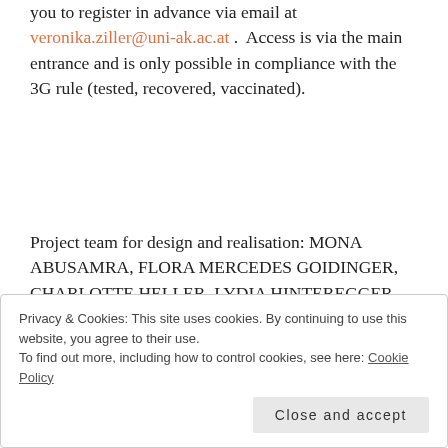you to register in advance via email at veronika.ziller@uni-ak.ac.at .  Access is via the main entrance and is only possible in compliance with the 3G rule (tested, recovered, vaccinated).
Project team for design and realisation: MONA ABUSAMRA, FLORA MERCEDES GOIDINGER, CHARLOTTE HELLER, LYDIA HINTEREGGER, MAGDALENA KERNEGGER, JOYCE LEE, WOLFGANG
Privacy & Cookies: This site uses cookies. By continuing to use this website, you agree to their use.
To find out more, including how to control cookies, see here: Cookie Policy
Project Lead: PHILIPP REINSBERG, LUKAS ALLNER